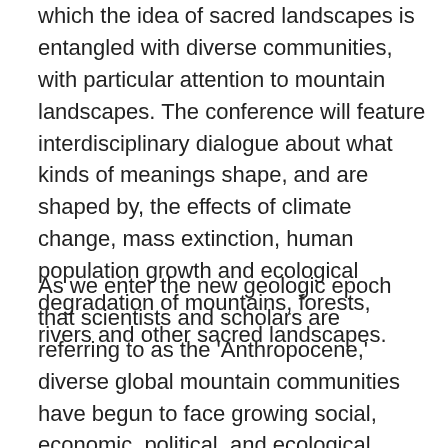which the idea of sacred landscapes is entangled with diverse communities, with particular attention to mountain landscapes. The conference will feature interdisciplinary dialogue about what kinds of meanings shape, and are shaped by, the effects of climate change, mass extinction, human population growth and ecological degradation of mountains, forests, rivers and other sacred landscapes.
As we enter the new geologic epoch that scientists and scholars are referring to as the 'Anthropocene,' diverse global mountain communities have begun to face growing social, economic, political, and ecological challenges. Melting glaciers, shifting agricultural patterns, conflicts over mining and resource extraction, risks to livelihoods, and the consequences of increasingly erratic global climate change pose unknown future challenges to many sacred landscapes, including mountain communities